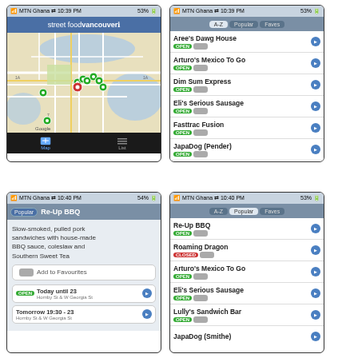[Figure (screenshot): iPhone app screenshot: Street Food Vancouver map view showing Google Maps with food vendor pins]
[Figure (screenshot): iPhone app screenshot: Street Food Vancouver A-Z list view showing open vendors including Aree's Dawg House, Arturo's Mexico To Go, Dim Sum Express, Eli's Serious Sausage, Fasttrac Fusion, JapaDog (Pender), JapaDog (Smithe), Lemon Sea]
[Figure (screenshot): iPhone app screenshot: Street Food Vancouver detail view for Re-Up BBQ showing description, Add to Favourites, hours Today until 23 and Tomorrow 19:30-23 at Hornby St & W Georgia St]
[Figure (screenshot): iPhone app screenshot: Street Food Vancouver Popular list view showing Re-Up BBQ (open), Roaming Dragon (closed), Arturo's Mexico To Go (open), Eli's Serious Sausage (open), Lully's Sandwich Bar (open), JapaDog (Smithe)]